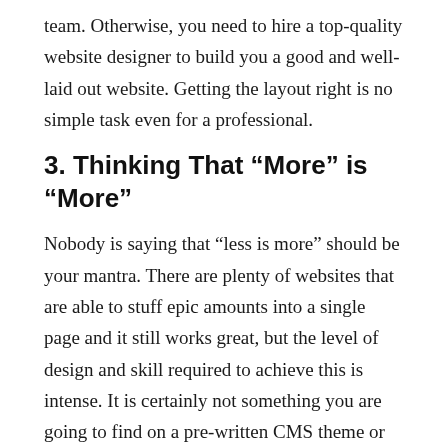team. Otherwise, you need to hire a top-quality website designer to build you a good and well-laid out website. Getting the layout right is no simple task even for a professional.
3. Thinking That “More” is “More”
Nobody is saying that “less is more” should be your mantra. There are plenty of websites that are able to stuff epic amounts into a single page and it still works great, but the level of design and skill required to achieve this is intense. It is certainly not something you are going to find on a pre-written CMS theme or template.